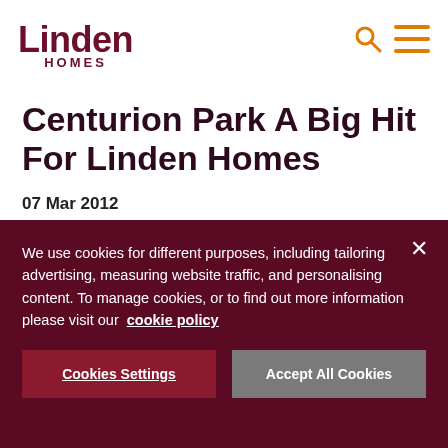Linden Homes
Centurion Park A Big Hit For Linden Homes
07 Mar 2012
Only two weeks after Linden Homes officially opened its Centurion
We use cookies for different purposes, including tailoring advertising, measuring website traffic, and personalising content. To manage cookies, or to find out more information please visit our cookie policy